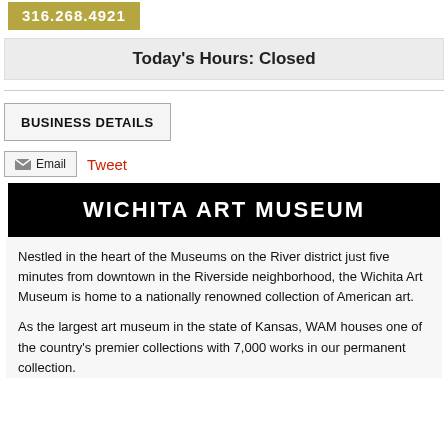316.268.4921
Today's Hours: Closed
BUSINESS DETAILS
Email  Tweet
WICHITA ART MUSEUM
Nestled in the heart of the Museums on the River district just five minutes from downtown in the Riverside neighborhood, the Wichita Art Museum is home to a nationally renowned collection of American art.
As the largest art museum in the state of Kansas, WAM houses one of the country's premier collections with 7,000 works in our permanent collection.